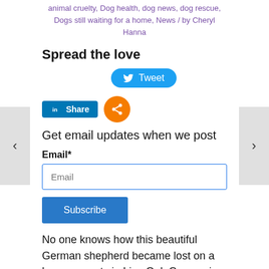animal cruelty, Dog health, dog news, dog rescue, Dogs still waiting for a home, News / by Cheryl Hanna
Spread the love
[Figure (infographic): Social sharing buttons: Tweet button (blue rounded), LinkedIn Share button (blue rectangle), and an orange share circle icon]
Get email updates when we post
Email*
Subscribe
No one knows how this beautiful German shepherd became lost on a large property in Live Oak Canyon in the Redlands of California. When a Good